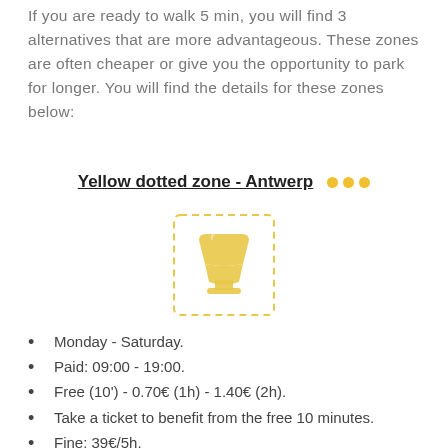If you are ready to walk 5 min, you will find 3 alternatives that are more advantageous. These zones are often cheaper or give you the opportunity to park for longer. You will find the details for these zones below:
Yellow dotted zone - Antwerp
[Figure (illustration): Yellow parking zone icon inside a dashed square border — a funnel/cup shape in yellow color]
Monday - Saturday.
Paid: 09:00 - 19:00.
Free (10')  -  0.70€ (1h)  -  1.40€ (2h).
Take a ticket to benefit from the free 10 minutes.
Fine: 39€/5h.
Free on public holidays.
Free parking without time limit for disabled people